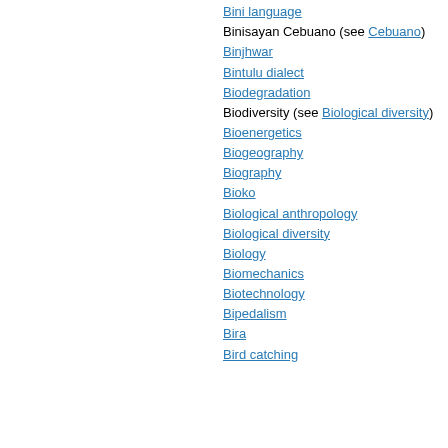Bini (Nigeria)
Bini language
Binisayan Cebuano (see Cebuano)
Binjhwar
Bintulu dialect
Biodegradation
Biodiversity (see Biological diversity)
Bioenergetics
Biogeography
Biography
Bioko
Biological anthropology
Biological diversity
Biology
Biomechanics
Biotechnology
Bipedalism
Bira
Bird catching